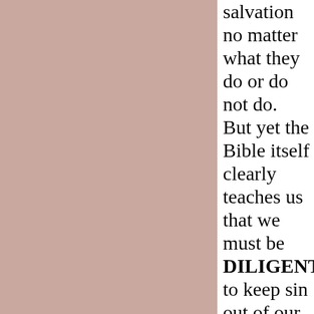salvation no matter what they do or do not do. But yet the Bible itself clearly teaches us that we must be DILIGENT to keep sin out of our lives so that we